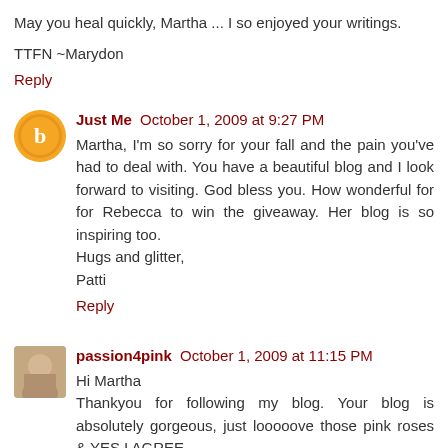May you heal quickly, Martha ... I so enjoyed your writings.
TTFN ~Marydon
Reply
Just Me  October 1, 2009 at 9:27 PM
Martha, I'm so sorry for your fall and the pain you've had to deal with. You have a beautiful blog and I look forward to visiting. God bless you. How wonderful for for Rebecca to win the giveaway. Her blog is so inspiring too.
Hugs and glitter,
Patti
Reply
passion4pink  October 1, 2009 at 11:15 PM
Hi Martha
Thankyou for following my blog. Your blog is absolutely gorgeous, just looooove those pink roses & YES I AGREE